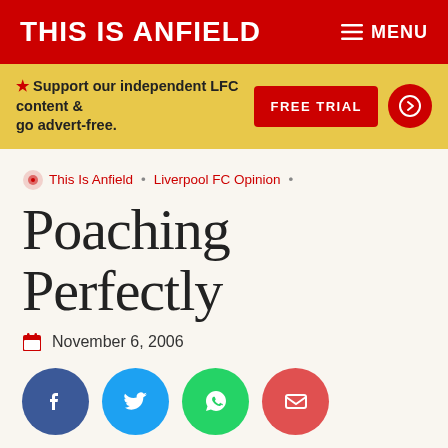THIS IS ANFIELD  ≡ MENU
★ Support our independent LFC content & go advert-free.  FREE TRIAL
This Is Anfield • Liverpool FC Opinion •
Poaching Perfectly
November 6, 2006
[Figure (infographic): Social share buttons: Facebook, Twitter, WhatsApp, Email]